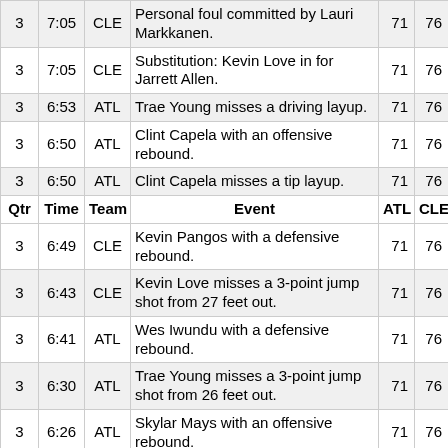| Qtr | Time | Team | Event | ATL | CLE |
| --- | --- | --- | --- | --- | --- |
| 3 | 7:05 | CLE | Personal foul committed by Lauri Markkanen. | 71 | 76 |
| 3 | 7:05 | CLE | Substitution: Kevin Love in for Jarrett Allen. | 71 | 76 |
| 3 | 6:53 | ATL | Trae Young misses a driving layup. | 71 | 76 |
| 3 | 6:50 | ATL | Clint Capela with an offensive rebound. | 71 | 76 |
| 3 | 6:50 | ATL | Clint Capela misses a tip layup. | 71 | 76 |
| 3 | 6:49 | CLE | Kevin Pangos with a defensive rebound. | 71 | 76 |
| 3 | 6:43 | CLE | Kevin Love misses a 3-point jump shot from 27 feet out. | 71 | 76 |
| 3 | 6:41 | ATL | Wes Iwundu with a defensive rebound. | 71 | 76 |
| 3 | 6:30 | ATL | Trae Young misses a 3-point jump shot from 26 feet out. | 71 | 76 |
| 3 | 6:26 | ATL | Skylar Mays with an offensive rebound. | 71 | 76 |
| 3 | 6:21 | ATL | Cameron Oliver makes a cutting dunk. Trae Young with the assist. | 73 | 76 |
| 3 | 6:05 | CLE | Kevin Love makes a 3-point jump shot from 26 feet out. | 73 | 79 |
| 3 | 5:49 | CLE | Personal foul committed by Isaac Okoro. | 73 | 79 |
| 3 | 5:49 | CLE | Substitution: Brandon Goodwin in for Kevin B... | 73 | 79 |